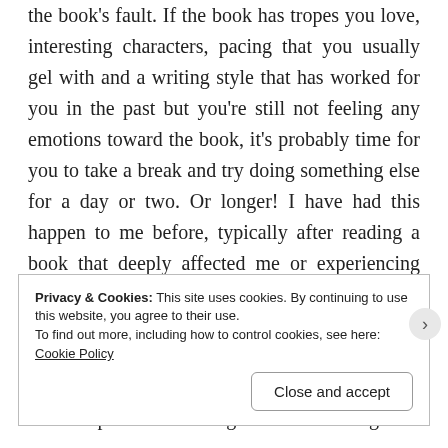the book's fault. If the book has tropes you love, interesting characters, pacing that you usually gel with and a writing style that has worked for you in the past but you're still not feeling any emotions toward the book, it's probably time for you to take a break and try doing something else for a day or two. Or longer! I have had this happen to me before, typically after reading a book that deeply affected me or experiencing something intense in my life. In this case, I would say the cause of the not-caring is burnout. If you're looking for a quick-ish fix for this specifically, sometimes rereading a favourite book helps me reset and get back to reading
Privacy & Cookies: This site uses cookies. By continuing to use this website, you agree to their use.
To find out more, including how to control cookies, see here: Cookie Policy
Close and accept